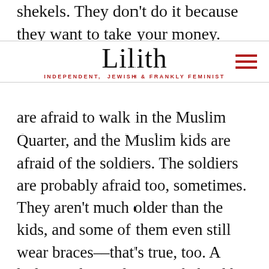shekels. They don't do it because they want to take your money. They do it because they're
Lilith — INDEPENDENT, JEWISH & FRANKLY FEMINIST
are afraid to walk in the Muslim Quarter, and the Muslim kids are afraid of the soldiers. The soldiers are probably afraid too, sometimes. They aren't much older than the kids, and some of them even still wear braces––that's true, too. A  little Muslim girl cowers behind her parents on Jerusalem Day.
A little Jewish girl dances ahead of everyone in the flag parade down Al-Wad Street in that same parade. Neither girl notices the other.